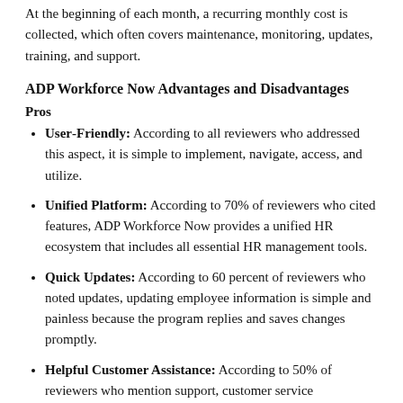At the beginning of each month, a recurring monthly cost is collected, which often covers maintenance, monitoring, updates, training, and support.
ADP Workforce Now Advantages and Disadvantages
Pros
User-Friendly: According to all reviewers who addressed this aspect, it is simple to implement, navigate, access, and utilize.
Unified Platform: According to 70% of reviewers who cited features, ADP Workforce Now provides a unified HR ecosystem that includes all essential HR management tools.
Quick Updates: According to 60 percent of reviewers who noted updates, updating employee information is simple and painless because the program replies and saves changes promptly.
Helpful Customer Assistance: According to 50% of reviewers who mention support, customer service